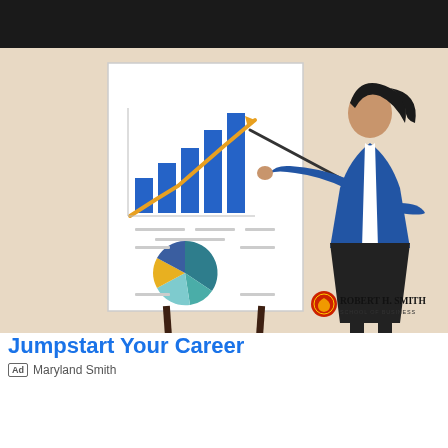[Figure (illustration): Advertisement illustration showing a businesswoman in a blue blazer and dark skirt pointing at a whiteboard with a bar chart and pie chart. Robert H. Smith School of Business logo in bottom right corner. Beige background.]
Jumpstart Your Career
Ad  Maryland Smith